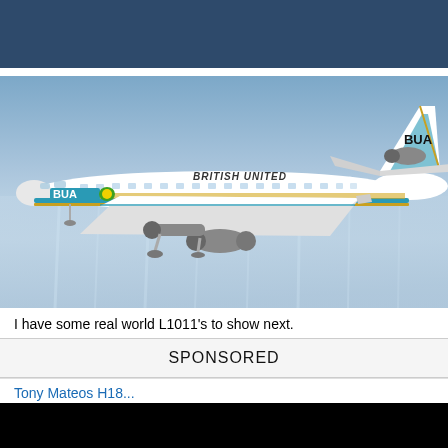[Figure (photo): Dark blue banner at the top of the page, partial view of a previous section]
[Figure (photo): Flight simulator rendering of a British United Airways (BUA) Lockheed L-1011 TriStar aircraft in white livery with teal/blue and gold stripes, BUA logo on tail and fuselage, 'BRITISH UNITED' text on upper fuselage, flying against a light blue sky/water background]
I have some real world L1011's to show next.
SPONSORED
Tony Mateos H18...